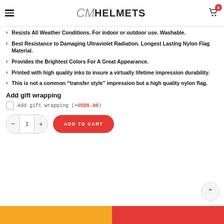CM Helmets
Resists All Weather Conditions. For indoor or outdoor use. Washable.
Best Resistance to Damaging Ultraviolet Radiation. Longest Lasting Nylon Flag Material.
Provides the Brightest Colors For A Great Appearance.
Printed with high quality inks to insure a virtually lifetime impression durability.
This is not a common “transfer style” impression but a high quality nylon flag.
Add gift wrapping
Add gift wrapping (+USD5.00)